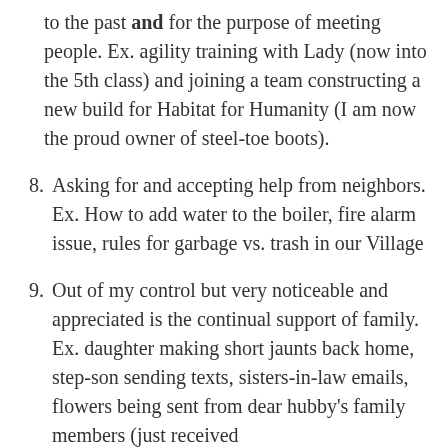to the past and for the purpose of meeting people.  Ex.  agility training with Lady (now into the 5th class) and joining a team constructing a new build for Habitat for Humanity (I am now the proud owner of steel-toe boots).
8. Asking for and accepting help from neighbors.  Ex.  How to add water to the boiler, fire alarm issue, rules for garbage vs. trash in our Village
9. Out of my control but very noticeable and appreciated is the continual support of family.  Ex.  daughter making short jaunts back home,  step-son sending texts,  sisters-in-law emails, flowers being sent from dear hubby's family members (just received